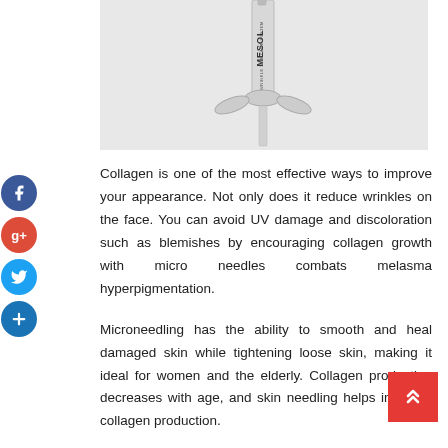[Figure (photo): A medical/cosmetic syringe labeled MESOL on a light gray background, partially cropped showing the barrel and plunger mechanism]
Collagen is one of the most effective ways to improve your appearance. Not only does it reduce wrinkles on the face. You can avoid UV damage and discoloration such as blemishes by encouraging collagen growth with micro needles combats melasma hyperpigmentation.
Microneedling has the ability to smooth and heal damaged skin while tightening loose skin, making it ideal for women and the elderly. Collagen production decreases with age, and skin needling helps increase collagen production.
While it may seem counterintuitive, microneedling doesn't